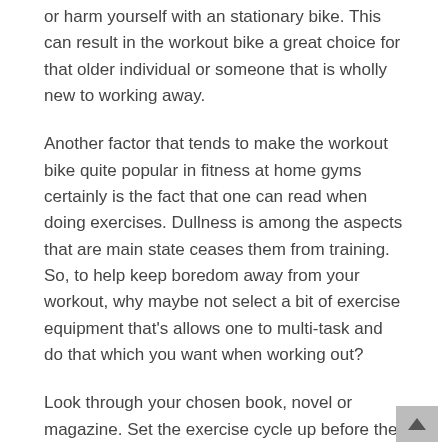or harm yourself with an stationary bike. This can result in the workout bike a great choice for that older individual or someone that is wholly new to working away.
Another factor that tends to make the workout bike quite popular in fitness at home gyms certainly is the fact that one can read when doing exercises. Dullness is among the aspects that are main state ceases them from training. So, to help keep boredom away from your workout, why maybe not select a bit of exercise equipment that's allows one to multi-task and do that which you want when working out?
Look through your chosen book, novel or magazine. Set the exercise cycle up before the television set and enjoy your selected show or film while pedaling. Time will travel by fast and you won't realize you've been blasting these calories that are unhealthy!